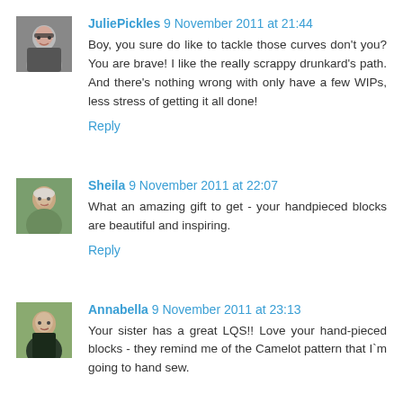[Figure (photo): Small avatar photo of JuliePickles, a woman with glasses]
JuliePickles 9 November 2011 at 21:44
Boy, you sure do like to tackle those curves don't you? You are brave! I like the really scrappy drunkard's path. And there's nothing wrong with only have a few WIPs, less stress of getting it all done!
Reply
[Figure (photo): Small avatar photo of Sheila, an older woman]
Sheila 9 November 2011 at 22:07
What an amazing gift to get - your handpieced blocks are beautiful and inspiring.
Reply
[Figure (photo): Small avatar photo of Annabella, a person outdoors]
Annabella 9 November 2011 at 23:13
Your sister has a great LQS!! Love your hand-pieced blocks - they remind me of the Camelot pattern that I`m going to hand sew.